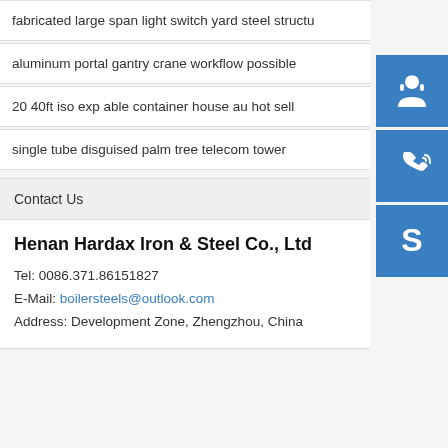fabricated large span light switch yard steel structu
aluminum portal gantry crane workflow possible
20 40ft iso exp able container house au hot sell
single tube disguised palm tree telecom tower
Contact Us
Henan Hardax Iron & Steel Co., Ltd
Tel: 0086.371.86151827
E-Mail: boilersteels@outlook.com
Address: Development Zone, Zhengzhou, China